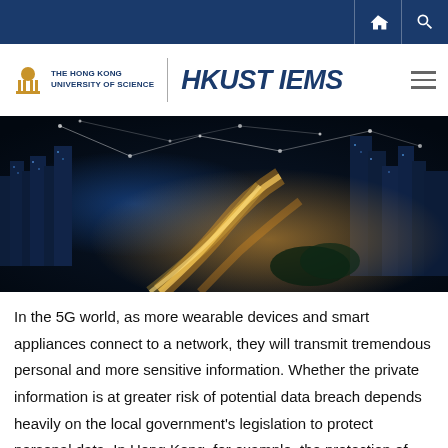THE HONG KONG UNIVERSITY OF SCIENCE | HKUST IEMS
[Figure (photo): Aerial night view of a smart city with glowing highway interchange and buildings with network connectivity lines overlaid]
In the 5G world, as more wearable devices and smart appliances connect to a network, they will transmit tremendous personal and more sensitive information. Whether the private information is at greater risk of potential data breach depends heavily on the local government's legislation to protect personal data. In Hong Kong, for example, the protection of personal data by law is only linked